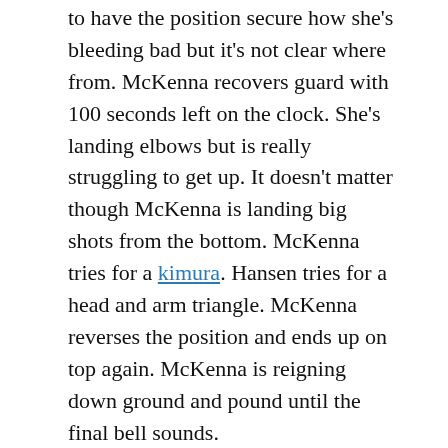to have the position secure how she's bleeding bad but it's not clear where from. McKenna recovers guard with 100 seconds left on the clock. She's landing elbows but is really struggling to get up. It doesn't matter though McKenna is landing big shots from the bottom. McKenna tries for a kimura. Hansen tries for a head and arm triangle. McKenna reverses the position and ends up on top again. McKenna is reigning down ground and pound until the final bell sounds.
OFFICIAL RESULT: Kay Hansen def. Cory McKenna via unanimous decision